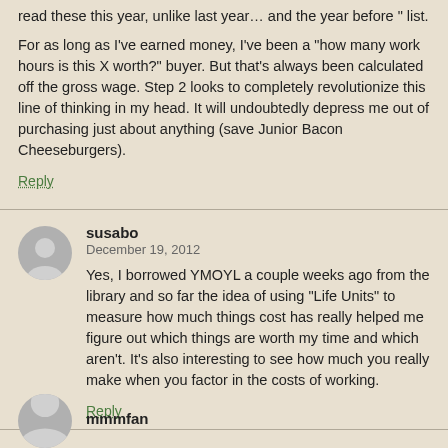read these this year, unlike last year… and the year before " list.
For as long as I've earned money, I've been a "how many work hours is this X worth?" buyer. But that's always been calculated off the gross wage. Step 2 looks to completely revolutionize this line of thinking in my head. It will undoubtedly depress me out of purchasing just about anything (save Junior Bacon Cheeseburgers).
Reply
susabo
December 19, 2012
Yes, I borrowed YMOYL a couple weeks ago from the library and so far the idea of using "Life Units" to measure how much things cost has really helped me figure out which things are worth my time and which aren't. It's also interesting to see how much you really make when you factor in the costs of working.
Reply
mmmfan